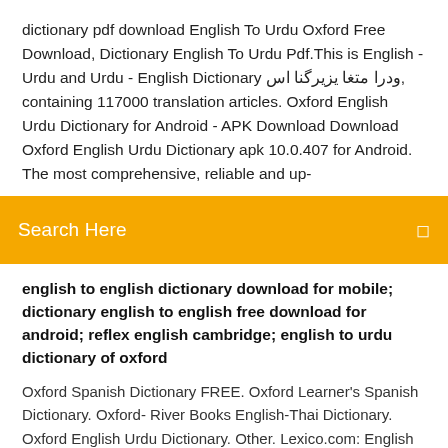dictionary pdf download English To Urdu Oxford Free Download, Dictionary English To Urdu Pdf.This is English - Urdu and Urdu - English Dictionary ودرا متغا یزیرگنا اس, containing 117000 translation articles. Oxford English Urdu Dictionary for Android - APK Download Download Oxford English Urdu Dictionary apk 10.0.407 for Android. The most comprehensive, reliable and up-
[Figure (screenshot): Orange/amber search bar UI element with 'Search Here' text in white on the left and a small white icon on the right]
english to english dictionary download for mobile; dictionary english to english free download for android; reflex english cambridge; english to urdu dictionary of oxford
Oxford Spanish Dictionary FREE. Oxford Learner's Spanish Dictionary. Oxford- River Books English-Thai Dictionary. Oxford English Urdu Dictionary. Other. Lexico.com: English Dictionary, Thesaurus, & Grammar Help Powered by Oxford, Lexico's Dictionary & Thesaurus offers trusted English definitions,